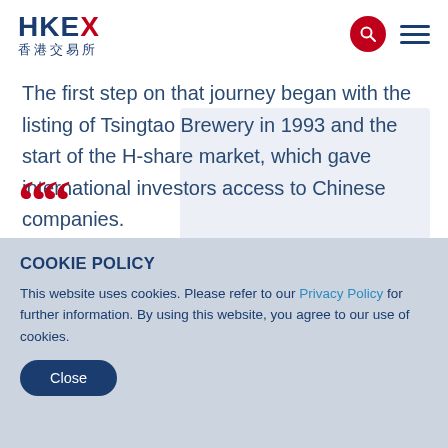HKEX 香港交易所
The first step on that journey began with the listing of Tsingtao Brewery in 1993 and the start of the H-share market, which gave international investors access to Chinese companies.
COOKIE POLICY
This website uses cookies. Please refer to our Privacy Policy for further information. By using this website, you agree to our use of cookies.
Close